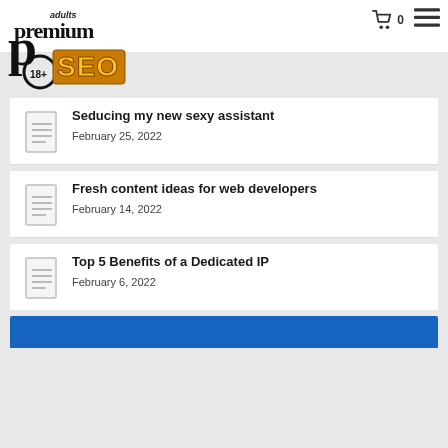Adult Premium SEO — site header with logo and cart/menu icons
Seducing my new sexy assistant
February 25, 2022
Fresh content ideas for web developers
February 14, 2022
Top 5 Benefits of a Dedicated IP
February 6, 2022
[Figure (other): Blue banner section at bottom of page]